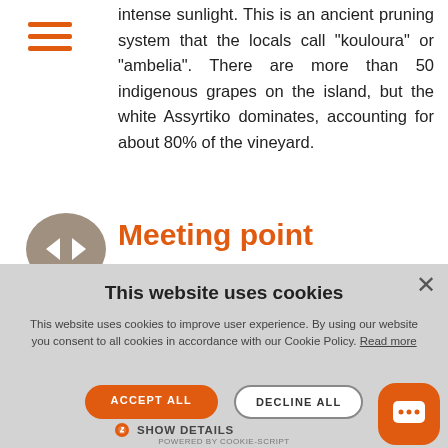[Figure (logo): Three horizontal orange lines forming a hamburger menu icon]
intense sunlight. This is an ancient pruning system that the locals call "kouloura" or "ambelia". There are more than 50 indigenous grapes on the island, but the white Assyrtiko dominates, accounting for about 80% of the vineyard.
[Figure (illustration): Taupe/beige circular icon with two white arrow symbols pointing toward center (collapse/meeting icon)]
Meeting point
This website uses cookies
This website uses cookies to improve user experience. By using our website you consent to all cookies in accordance with our Cookie Policy. Read more
ACCEPT ALL
DECLINE ALL
SHOW DETAILS
POWERED BY COOKIE-SCRIPT